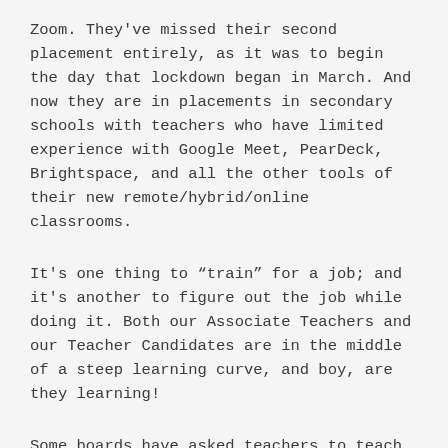Zoom. They've missed their second placement entirely, as it was to begin the day that lockdown began in March. And now they are in placements in secondary schools with teachers who have limited experience with Google Meet, PearDeck, Brightspace, and all the other tools of their new remote/hybrid/online classrooms.
It's one thing to "train" for a job; and it's another to figure out the job while doing it. Both our Associate Teachers and our Teacher Candidates are in the middle of a steep learning curve, and boy, are they learning!
Some boards have asked teachers to teach fully online.  This is the simplest model, and one which our Teacher Candidates have pointed out